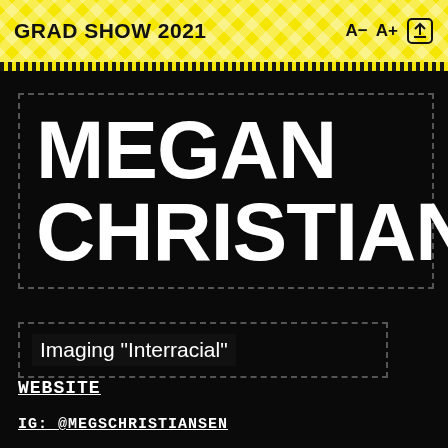GRAD SHOW 2021
MEGAN CHRISTIANSEN
Imaging "Interracial"
WEBSITE
IG: @MEGSCHRISTIANSEN